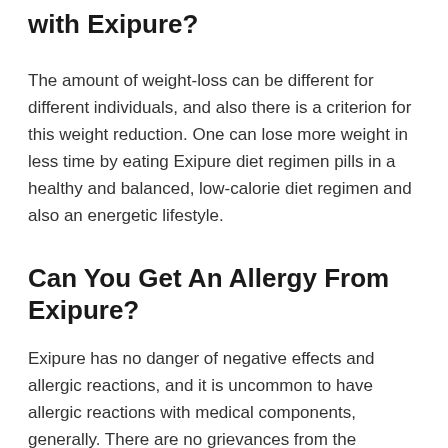with Exipure?
The amount of weight-loss can be different for different individuals, and also there is a criterion for this weight reduction. One can lose more weight in less time by eating Exipure diet regimen pills in a healthy and balanced, low-calorie diet regimen and also an energetic lifestyle.
Can You Get An Allergy From Exipure?
Exipure has no danger of negative effects and allergic reactions, and it is uncommon to have allergic reactions with medical components, generally. There are no grievances from the customers, and also no individual reported an